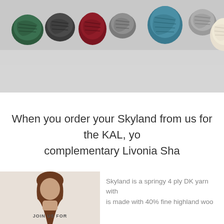[Figure (photo): Photo of multiple yarn skeins/bundles in various colors (dark green, charcoal, dark red/crimson, medium gray, teal/blue, light gray, cream/white) arranged on a light gray background.]
When you order your Skyland from us for the KAL, yo... complementary Livonia Sha...
[Figure (photo): Photo showing a person (partially visible, woman with brown hair) and text 'JOIN US FOR' below, associated with a knit-along (KAL) promotion.]
Skyland is a springy 4 ply DK yarn with... is made with 40% fine highland woo...